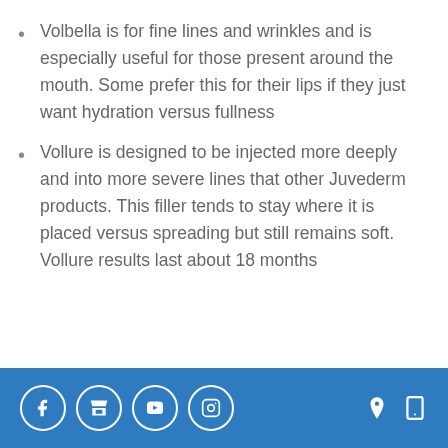Volbella is for fine lines and wrinkles and is especially useful for those present around the mouth. Some prefer this for their lips if they just want hydration versus fullness
Vollure is designed to be injected more deeply and into more severe lines that other Juvederm products. This filler tends to stay where it is placed versus spreading but still remains soft. Vollure results last about 18 months
Social media icons and contact icons